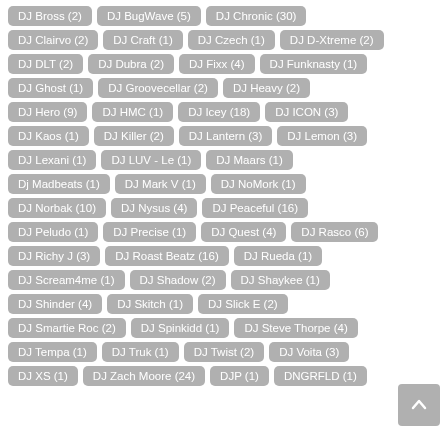DJ Bross (2)
DJ BugWave (5)
DJ Chronic (30)
DJ Clairvo (2)
DJ Craft (1)
DJ Czech (1)
DJ D-Xtreme (2)
DJ DLT (2)
DJ Dubra (2)
DJ Fixx (4)
DJ Funknasty (1)
DJ Ghost (1)
DJ Groovecellar (2)
DJ Heavy (2)
DJ Hero (9)
DJ HMC (1)
DJ Icey (18)
DJ ICON (3)
DJ Kaos (1)
DJ Killer (2)
DJ Lantern (3)
DJ Lemon (3)
DJ Lexani (1)
DJ LUV - Le (1)
DJ Maars (1)
Dj Madbeats (1)
DJ Mark V (1)
DJ NoMork (1)
DJ Norbak (10)
DJ Nysus (4)
DJ Peaceful (16)
DJ Peludo (1)
DJ Precise (1)
DJ Quest (4)
DJ Rasco (6)
DJ Richy J (3)
DJ Roast Beatz (16)
DJ Rueda (1)
DJ Scream4me (1)
DJ Shadow (2)
DJ Shaykee (1)
DJ Shinder (4)
DJ Skitch (1)
DJ Slick E (2)
DJ Smartie Roc (2)
DJ Spinkidd (1)
DJ Steve Thorpe (4)
DJ Tempa (1)
DJ Truk (1)
DJ Twist (2)
DJ Voita (3)
DJ XS (1)
DJ Zach Moore (24)
DJP (1)
DNGRFLD (1)